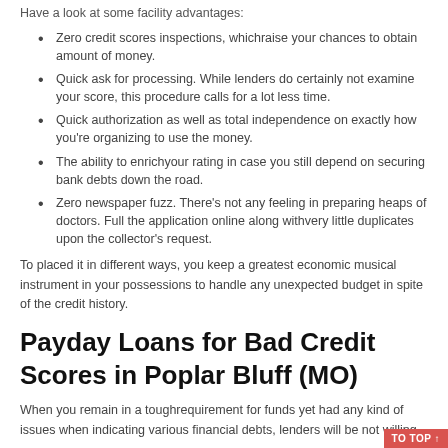Have a look at some facility advantages:
Zero credit scores inspections, whichraise your chances to obtain amount of money.
Quick ask for processing. While lenders do certainly not examine your score, this procedure calls for a lot less time.
Quick authorization as well as total independence on exactly how you're organizing to use the money.
The ability to enrichyour rating in case you still depend on securing bank debts down the road.
Zero newspaper fuzz. There's not any feeling in preparing heaps of doctors. Full the application online along withvery little duplicates upon the collector's request.
To placed it in different ways, you keep a greatest economic musical instrument in your possessions to handle any unexpected budget in spite of the credit history.
Payday Loans for Bad Credit Scores in Poplar Bluff (MO)
When you remain in a toughrequirement for funds yet had any kind of issues when indicating various financial debts, lenders will be not willing...